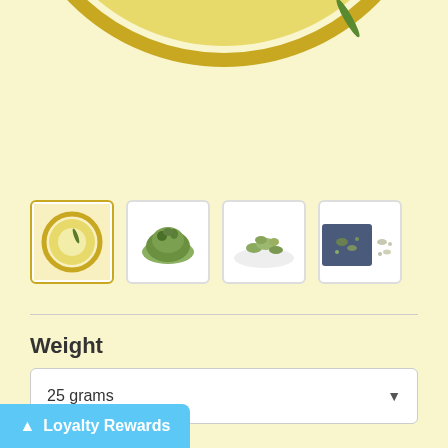[Figure (photo): Close-up top-down view of a glass cup/bowl containing pale yellow-green tea liquid with a single tea leaf, showing circular rim with golden-yellow color]
[Figure (photo): Four product thumbnail images side by side: 1) tea in glass cup from above, 2) pile of green rolled oolong tea leaves on white background, 3) loose dried green tea on white surface, 4) dark background with tea leaves and small granules]
Weight
25 grams
Loyalty Rewards